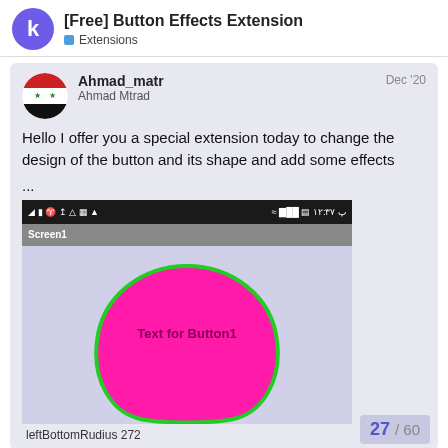[Free] Button Effects Extension — Extensions
Ahmad_matr
Ahmad Mtrad
Dec '20
Hello I offer you a special extension today to change the design of the button and its shape and add some effects ...
[Figure (screenshot): Android phone screenshot showing a mobile app screen (Screen1) with a large hot-pink blob-shaped button labeled 'Text for Button1' with a green border, on a light purple background]
leftBottomRudius 272
27 / 60